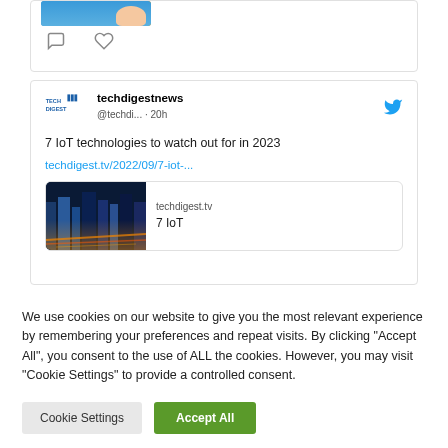[Figure (screenshot): Partial top of a tweet card showing a cropped image with a person's hand and a blue gradient, with comment and like icon reactions below]
[Figure (screenshot): Tweet from techdigestnews (@techdi... · 20h) with Twitter bird icon, text '7 IoT technologies to watch out for in 2023', link 'techdigest.tv/2022/09/7-iot-...', and a preview card showing city lights image with 'techdigest.tv' and '7 IoT']
We use cookies on our website to give you the most relevant experience by remembering your preferences and repeat visits. By clicking "Accept All", you consent to the use of ALL the cookies. However, you may visit "Cookie Settings" to provide a controlled consent.
Cookie Settings | Accept All